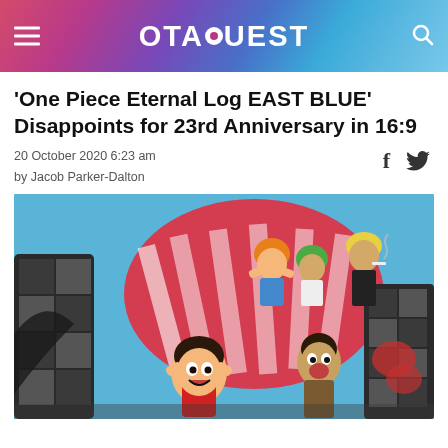OTAQUEST
'One Piece Eternal Log EAST BLUE' Disappoints for 23rd Anniversary in 16:9
20 October 2020 6:23 am
by Jacob Parker-Dalton
[Figure (illustration): One Piece anime illustration showing Luffy and other Straw Hat crew members (Nami, Zoro, Sanji) in a dynamic action pose against a colorful background with a large bird creature (likely the Going Merry figurehead or similar), featuring red and white striped patterns and black checkered elements.]